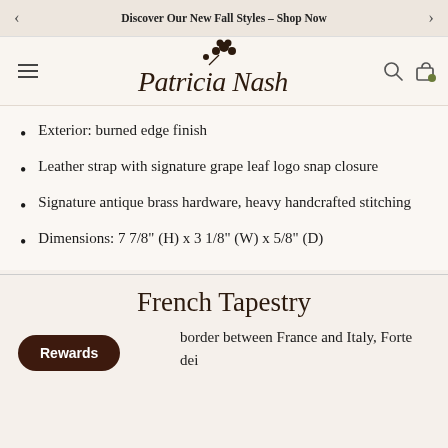Discover Our New Fall Styles – Shop Now
[Figure (logo): Patricia Nash cursive script logo with floral grape leaf motif above the text]
Exterior: burned edge finish
Leather strap with signature grape leaf logo snap closure
Signature antique brass hardware, heavy handcrafted stitching
Dimensions: 7 7/8" (H) x 3 1/8" (W) x 5/8" (D)
French Tapestry
border between France and Italy, Forte dei